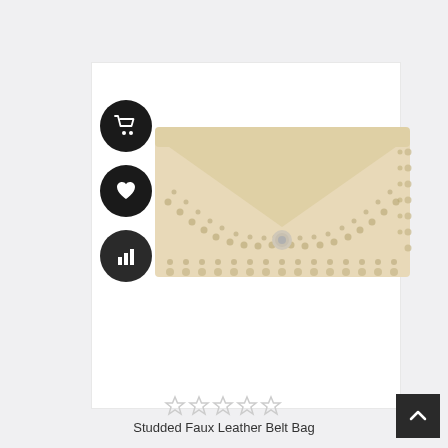[Figure (photo): A cream/beige studded faux leather belt bag (envelope clutch style) with metallic stud trim along the flap edges and a silver snap button closure. Three black circular action buttons are overlaid on the left side: a shopping cart icon, a heart/wishlist icon, and a bar chart/compare icon.]
[Figure (other): Five empty star rating icons in light gray indicating no rating yet.]
Studded Faux Leather Belt Bag